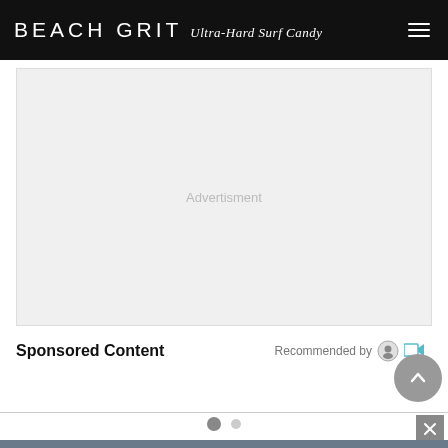BEACH GRIT Ultra-Hard Surf Candy
[Figure (other): Advertisement placeholder box with light gray background and 'Advertisment' label in center]
Advertisment
Sponsored Content
Recommended by
[Figure (other): Carousel navigation dots and close button overlay, with partial bottom image of dark starry background]